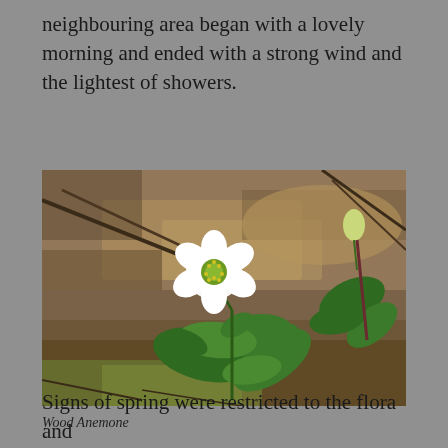neighbouring area began with a lovely morning and ended with a strong wind and the lightest of showers.
[Figure (photo): A Wood Anemone flower with white petals and a green centre, surrounded by green lobed leaves, growing close to the ground among twigs, rocks and moss.]
Wood Anemone
Signs of spring were restricted to the flora and